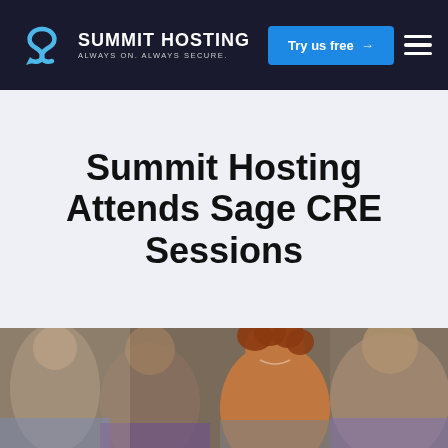Summit Hosting — Always On. Always Secure. | Try us free → | Menu
Summit Hosting Attends Sage CRE Sessions
[Figure (photo): Audience of diverse smiling people seated at a conference/session event, shot in profile from the side. A woman with curly hair is prominently visible in the center-right.]